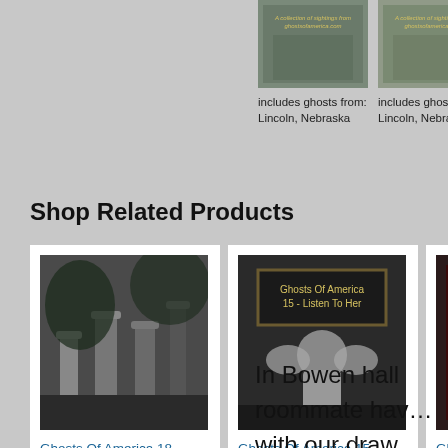[Figure (screenshot): Two book covers at top showing ghost-related books with cemetery imagery]
includes ghosts from: Lincoln, Nebraska
includes ghosts from: Lincoln, Nebraska
Shop Related Products
[Figure (photo): Book cover: Ghosts Of America 18 - The Wooden Leg, black and white cemetery photo]
Ghosts Of America 18 – The Wooden Leg
$12.99 ✓prime (6) 5 stars
[Figure (photo): Book cover: Ghosts Of America 15 - Listen To Her, dark cover with figure]
Ghosts Of America 15 - Listen To Her (…
$12.99 ✓prime (4) 3 stars
[Figure (photo): Book cover: Ghosts of America - Great Plains]
Ghosts of America - Great Plains (Ghos…
$12.99 ✓prime (7) 4 stars
In Bowen hall roommate have with our draw